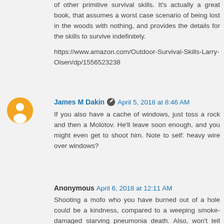of other primitive survival skills. It's actually a great book, that assumes a worst case scenario of being lost in the woods with nothing, and provides the details for the skills to survive indefinitely.
https://www.amazon.com/Outdoor-Survival-Skills-Larry-Olsen/dp/1556523238
[Figure (other): Orange circular Blogger avatar icon with white person silhouette]
James M Dakin [editor icon] April 5, 2018 at 8:46 AM
If you also have a cache of windows, just toss a rock and then a Molotov. He'll leave soon enough, and you might even get to shoot him. Note to self: heavy wire over windows?
Anonymous April 6, 2018 at 12:11 AM
Shooting a mofo who you have burned out of a hole could be a kindness, compared to a weeping smoke-damaged starving pneumonia death. Also, won't tell tales.